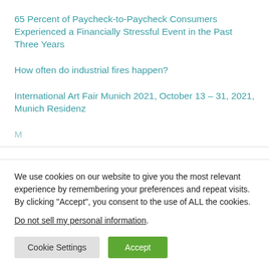65 Percent of Paycheck-to-Paycheck Consumers Experienced a Financially Stressful Event in the Past Three Years
How often do industrial fires happen?
International Art Fair Munich 2021, October 13 – 31, 2021, Munich Residenz
M…
We use cookies on our website to give you the most relevant experience by remembering your preferences and repeat visits. By clicking “Accept”, you consent to the use of ALL the cookies.
Do not sell my personal information.